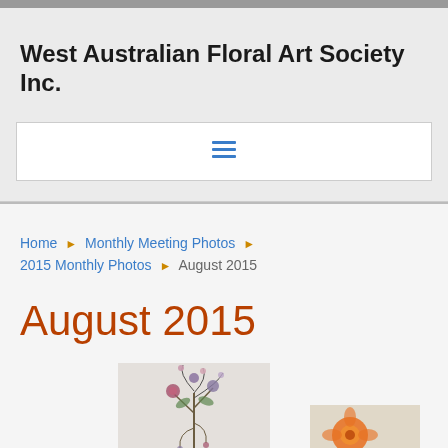West Australian Floral Art Society Inc.
[Figure (screenshot): Hamburger/navigation menu icon with three horizontal blue lines]
Home ▶ Monthly Meeting Photos ▶ 2015 Monthly Photos ▶ August 2015
August 2015
[Figure (photo): Floral art arrangement on white background]
[Figure (photo): Partial floral arrangement with orange flower, partially visible at bottom right]